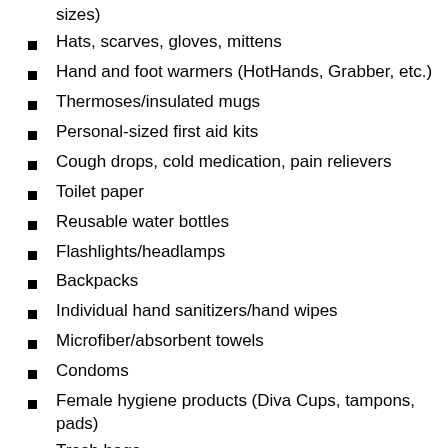sizes)
Hats, scarves, gloves, mittens
Hand and foot warmers (HotHands, Grabber, etc.)
Thermoses/insulated mugs
Personal-sized first aid kits
Cough drops, cold medication, pain relievers
Toilet paper
Reusable water bottles
Flashlights/headlamps
Backpacks
Individual hand sanitizers/hand wipes
Microfiber/absorbent towels
Condoms
Female hygiene products (Diva Cups, tampons, pads)
Trash bags